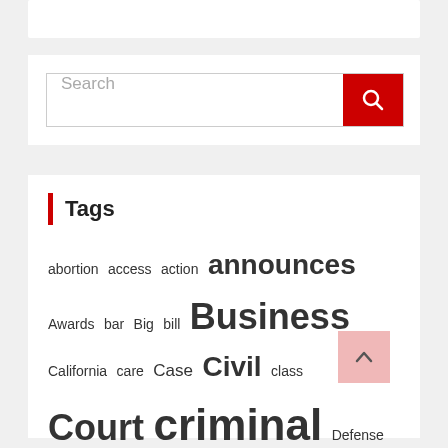[Figure (other): Search bar with red search button]
Tags
abortion access action announces Awards bar Big bill Business California care Case Civil class Court criminal Defense Firm firms International investigation investors judge Justice law Lawmakers laws lawyer lawyers legal Legislation News Ontario Opinion Public reform Rights Rules School Society state Supreme system Systems update